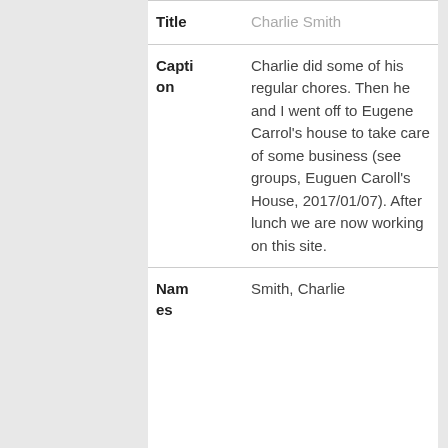| Field | Value |
| --- | --- |
| Title | Charlie Smith |
| Caption | Charlie did some of his regular chores. Then he and I went off to Eugene Carrol's house to take care of some business (see groups, Euguen Caroll's House, 2017/01/07). After lunch we are now working on this site. |
| Names | Smith, Charlie |